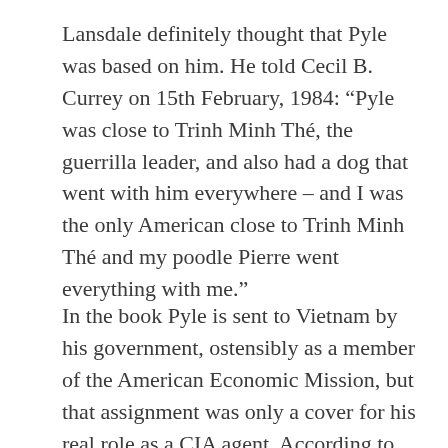Lansdale definitely thought that Pyle was based on him. He told Cecil B. Currey on 15th February, 1984: “Pyle was close to Trinh Minh Thé, the guerrilla leader, and also had a dog that went with him everywhere – and I was the only American close to Trinh Minh Thé and my poodle Pierre went everything with me.”
In the book Pyle is sent to Vietnam by his government, ostensibly as a member of the American Economic Mission, but that assignment was only a cover for his real role as a CIA agent. According to